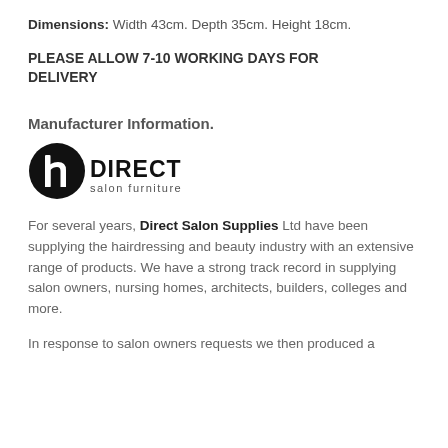Dimensions: Width 43cm. Depth 35cm. Height 18cm.
PLEASE ALLOW 7-10 WORKING DAYS FOR DELIVERY
Manufacturer Information.
[Figure (logo): Direct Salon Furniture logo — circular black icon with stylized 'h' and the text 'DIRECT salon furniture']
For several years, Direct Salon Supplies Ltd have been supplying the hairdressing and beauty industry with an extensive range of products. We have a strong track record in supplying salon owners, nursing homes, architects, builders, colleges and more.
In response to salon owners requests we then produced a